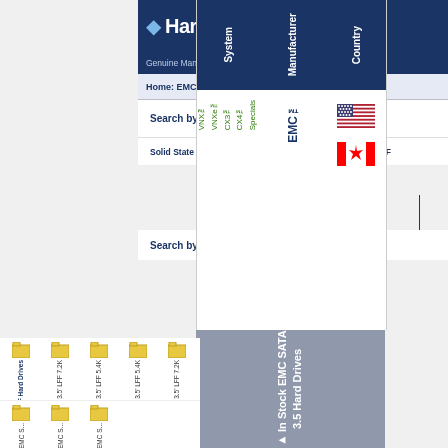HardDrivesDirect - Genuine Manufacturer Parts Direct
Home: EMC: EMC SATA 3.5 Hard Drives
Search by Server
Solid State Drives | SAS/SATA HDD | U320 HDD | Fibre
Search by
Country
Manufacturer
EMC™
System
VNX™
VNXe™
CX3™
CX4™
Specials
In Stock EMC SATA 3.5 Hard Drives
EMC SATA 3.5' LFF Hard Drives
EMC SATA 500GB 3.5' LFF 7.2K
EMC SATA 1TB 3.5' LFF 5.4K
EMC SATA 2TB 3.5' LFF 5.4K
EMC SATA 3TB 3.5' LFF 7.2K
EMC S...
EMC S...
EMC S...